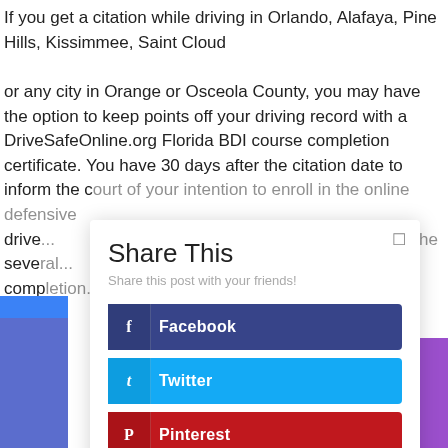If you get a citation while driving in Orlando, Alafaya, Pine Hills, Kissimmee, Saint Cloud or any city in Orange or Osceola County, you may have the option to keep points off your driving record with a DriveSafeOnline.org Florida BDI course completion certificate. You have 30 days after the citation date to inform the court of your intention to enroll in the online defensive drive... the seve... comp...
[Figure (screenshot): Share This modal dialog with Facebook, Twitter, Pinterest share buttons overlaid on the article text. Left side shows blue navigation bar fragments, right side shows purple bar fragments.]